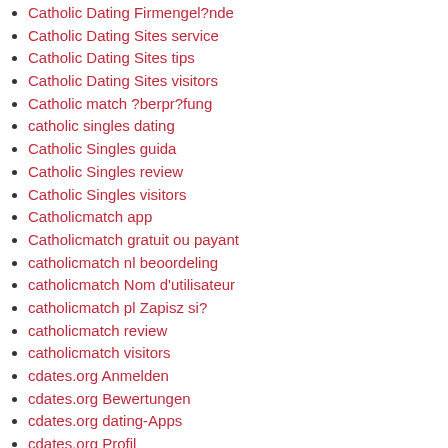Catholic Dating Firmengel?nde
Catholic Dating Sites service
Catholic Dating Sites tips
Catholic Dating Sites visitors
Catholic match ?berpr?fung
catholic singles dating
Catholic Singles guida
Catholic Singles review
Catholic Singles visitors
Catholicmatch app
Catholicmatch gratuit ou payant
catholicmatch nl beoordeling
catholicmatch Nom d'utilisateur
catholicmatch pl Zapisz si?
catholicmatch review
catholicmatch visitors
cdates.org Anmelden
cdates.org Bewertungen
cdates.org dating-Apps
cdates.org Profil
cedar rapids escort girl
cedar-rapids escort
cerne-seznamky hodnocen?
chandler escort
Chappy App